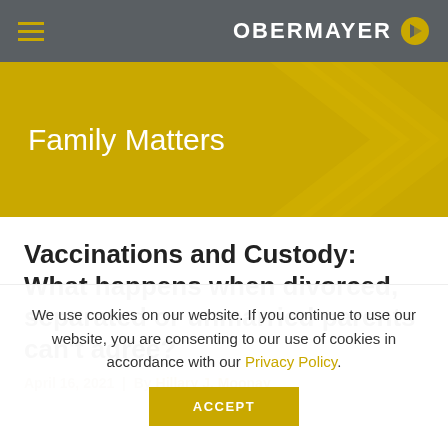OBERMAYER
Family Matters
Vaccinations and Custody: What happens when divorced, separated or unmarried parents can't agree?
April 16, 2021 | By Hillary J. Moonay
We use cookies on our website. If you continue to use our website, you are consenting to our use of cookies in accordance with our Privacy Policy.
ACCEPT